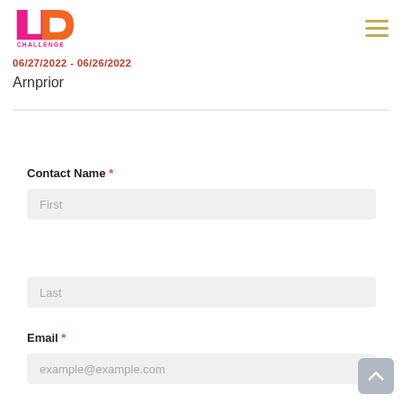[Figure (logo): UD Challenge logo with stylized orange and pink 'UD' letters and 'CHALLENGE' text below]
06/27/2022 - 06/26/2022
Arnprior
Contact Name *
First
Last
Email *
example@example.com